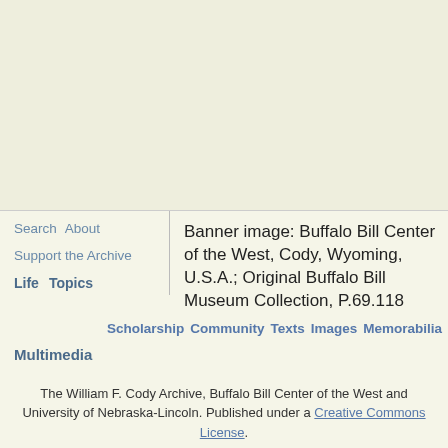[Figure (photo): Blank/empty banner image area with light cream/beige background]
Search   About
Banner image: Buffalo Bill Center of the West, Cody, Wyoming, U.S.A.; Original Buffalo Bill Museum Collection, P.69.118
Support the Archive
Life   Topics
Scholarship   Community   Texts   Images   Memorabilia
Multimedia
The William F. Cody Archive, Buffalo Bill Center of the West and University of Nebraska-Lincoln. Published under a Creative Commons License.